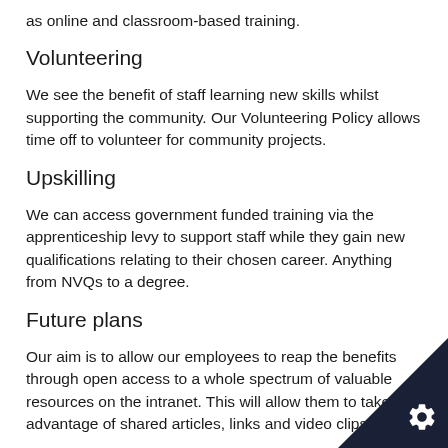as online and classroom-based training.
Volunteering
We see the benefit of staff learning new skills whilst supporting the community. Our Volunteering Policy allows time off to volunteer for community projects.
Upskilling
We can access government funded training via the apprenticeship levy to support staff while they gain new qualifications relating to their chosen career. Anything from NVQs to a degree.
Future plans
Our aim is to allow our employees to reap the benefits through open access to a whole spectrum of valuable resources on the intranet. This will allow them to take advantage of shared articles, links and video clips to